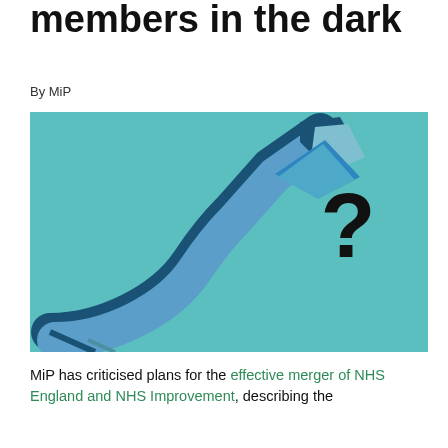members in the dark
By MiP
[Figure (illustration): 3D blue arrow curving upward to the right with a large black question mark on a teal/turquoise background]
MiP has criticised plans for the effective merger of NHS England and NHS Improvement, describing the